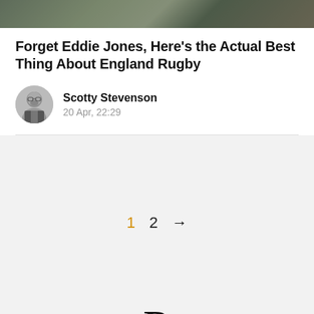[Figure (photo): Top banner photo showing rugby players on a field, partially cropped]
Forget Eddie Jones, Here's the Actual Best Thing About England Rugby
Scotty Stevenson
20 Apr, 22:29
1  2  →